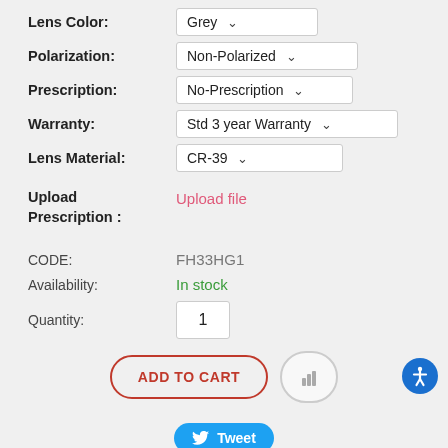Lens Color: Grey
Polarization: Non-Polarized
Prescription: No-Prescription
Warranty: Std 3 year Warranty
Lens Material: CR-39
Upload Prescription: Upload file
CODE: FH33HG1
Availability: In stock
Quantity: 1
ADD TO CART
Tweet